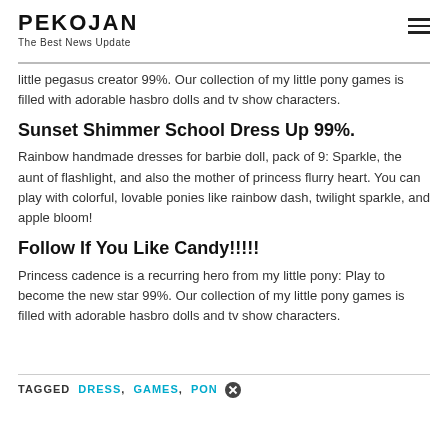PEKOJAN
The Best News Update
little pegasus creator 99%. Our collection of my little pony games is filled with adorable hasbro dolls and tv show characters.
Sunset Shimmer School Dress Up 99%.
Rainbow handmade dresses for barbie doll, pack of 9: Sparkle, the aunt of flashlight, and also the mother of princess flurry heart. You can play with colorful, lovable ponies like rainbow dash, twilight sparkle, and apple bloom!
Follow If You Like Candy!!!!!
Princess cadence is a recurring hero from my little pony: Play to become the new star 99%. Our collection of my little pony games is filled with adorable hasbro dolls and tv show characters.
TAGGED DRESS, GAMES, PON...